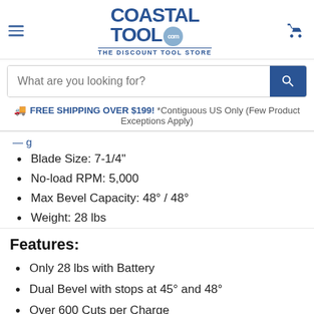[Figure (logo): Coastal Tool .com — The Discount Tool Store logo with hamburger menu and cart icon]
What are you looking for?
FREE SHIPPING OVER $199! *Contiguous US Only (Few Product Exceptions Apply)
Blade Size: 7-1/4"
No-load RPM: 5,000
Max Bevel Capacity: 48° / 48°
Weight: 28 lbs
Features:
Only 28 lbs with Battery
Dual Bevel with stops at 45° and 48°
Over 600 Cuts per Charge